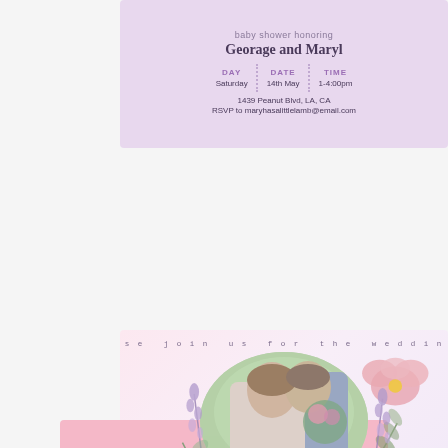[Figure (illustration): Baby shower invitation card with lavender background. Text reads 'baby shower honoring Georage and Maryl' with DAY: Saturday, DATE: 14th May, TIME: 1-4:00pm, address 1439 Peanut Blvd, LA, CA, RSVP to maryhasalittlelamb@email.com]
[Figure (photo): Wedding invitation card with pink/lavender gradient background. Features an oval photo of a bride and groom in an intimate pose, decorated with watercolor flowers and botanical elements. Cursive text reads 'Georage & Mary'. Text 'please join us for the wedding of' arcs above. Below: '18TH MAY AT 4PM' and '1439 Peanut Blvd, LA, CA']
[Figure (illustration): Partially visible third card at the bottom with pink background]